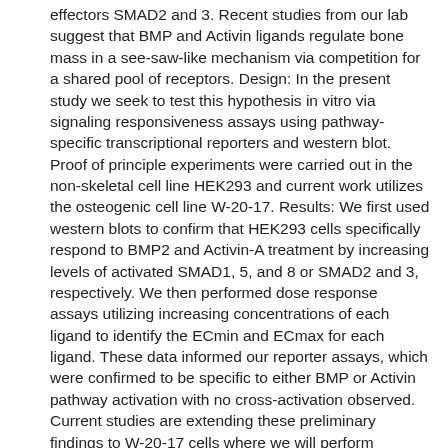effectors SMAD2 and 3. Recent studies from our lab suggest that BMP and Activin ligands regulate bone mass in a see-saw-like mechanism via competition for a shared pool of receptors. Design: In the present study we seek to test this hypothesis in vitro via signaling responsiveness assays using pathway-specific transcriptional reporters and western blot. Proof of principle experiments were carried out in the non-skeletal cell line HEK293 and current work utilizes the osteogenic cell line W-20-17. Results: We first used western blots to confirm that HEK293 cells specifically respond to BMP2 and Activin-A treatment by increasing levels of activated SMAD1, 5, and 8 or SMAD2 and 3, respectively. We then performed dose response assays utilizing increasing concentrations of each ligand to identify the ECmin and ECmax for each ligand. These data informed our reporter assays, which were confirmed to be specific to either BMP or Activin pathway activation with no cross-activation observed. Current studies are extending these preliminary findings to W-20-17 cells where we will perform competition assays between BMP and Activin ligands to examine the role of receptor-level competition in determining the ratio of these two pathways. We hope that elucidating the mechanisms that regulate the antagonism between these pathways will identify